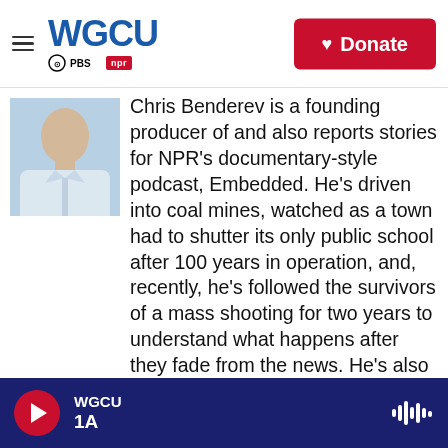WGCU PBS NPR — Donate
[Figure (photo): Partial photo of a person in a light blue collared shirt, cropped at chest level]
Chris Benderev is a founding producer of and also reports stories for NPR's documentary-style podcast, Embedded. He's driven into coal mines, watched as a town had to shutter its only public school after 100 years in operation, and, recently, he's followed the survivors of a mass shooting for two years to understand what happens after they fade from the news. He's also investigated the pseudoscience behind a national chain of autism treatment facilities. As a producer, he's made stories about ISIS, voting rights and Donald Trump's business history. Earlier in his career, he was a producer at NPR's Weekend Edition, Morning Edition,
WGCU 1A